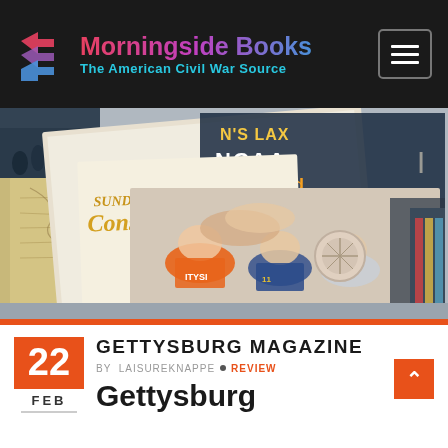Morningside Books — The American Civil War Source
[Figure (photo): Hero image showing overlapping sports and book magazines spread on a surface, including one with NCAA AIMS 2nd TITLE and SUNDERM text, women's lacrosse players celebrating in orange uniforms, and a historical map.]
22 FEB
GETTYSBURG MAGAZINE
BY LAISUREKNAPPE • REVIEW
Gettysburg